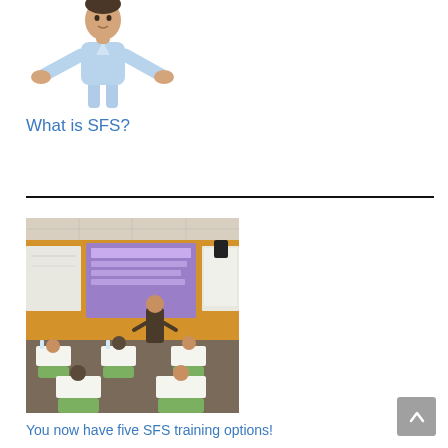[Figure (photo): Man in a light blue shirt shrugging with both hands raised, palms up, against a white background]
What is SFS?
[Figure (photo): Classroom scene with a presenter standing in front of a projection screen showing a purple slide, green chairs, students seated at desks, and yellow-orange walls]
You now have five SFS training options!